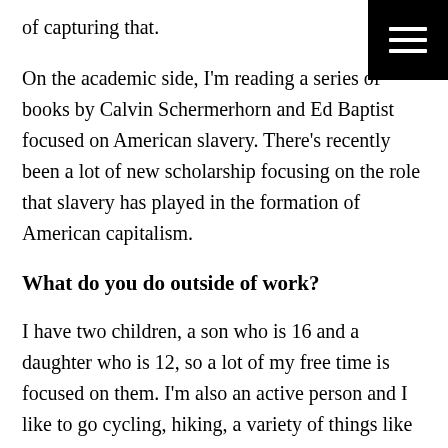of capturing that.
On the academic side, I'm reading a series of books by Calvin Schermerhorn and Ed Baptist focused on American slavery. There's recently been a lot of new scholarship focusing on the role that slavery has played in the formation of American capitalism.
What do you do outside of work?
I have two children, a son who is 16 and a daughter who is 12, so a lot of my free time is focused on them. I'm also an active person and I like to go cycling, hiking, a variety of things like that. We travel a lot, and I'm an avid amateur photographer, so I take photos on our travels. One of the beautiful things